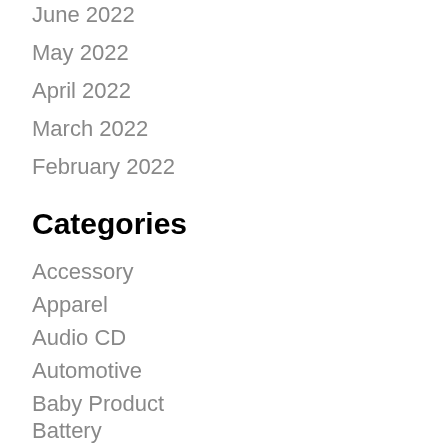June 2022
May 2022
April 2022
March 2022
February 2022
Categories
Accessory
Apparel
Audio CD
Automotive
Baby Product
Battery
Blu-ray